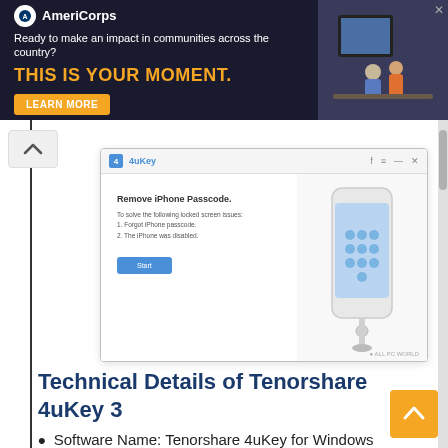[Figure (screenshot): AmeriCorps advertisement banner with dark navy background. Shows AmeriCorps logo, tagline 'Ready to make an impact in communities across the country?', headline 'THIS IS YOUR MOMENT.' in orange, a 'LEARN MORE' button, and a photo of people at computers on the right.]
[Figure (screenshot): Tenorshare 4uKey software window showing 'Remove iPhone Passcode' screen with a 'Start' button and an iPhone graphic on a light blue background.]
Technical Details of Tenorshare 4uKey 3
Software Name: Tenorshare 4uKey for Windows